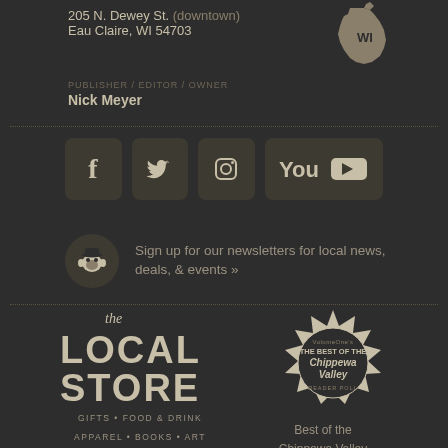205 N. Dewey St. (downtown)
Eau Claire, WI 54703
PUBLISHER / EDITOR / OWNER
Nick Meyer
[Figure (logo): Wisconsin state outline logo with WI text]
[Figure (logo): Social media icons: Facebook, Twitter, Instagram, YouTube]
[Figure (logo): Mailchimp monkey logo icon]
Sign up for our newsletters for local news, deals, & events »
[Figure (logo): The Local Store logo in stylized script/block lettering]
GIFTS • FOOD & DRINK
APPAREL • BOOKS • ART
PANTRY • TOYS • DÉCOR
[Figure (logo): Volume One's The Best of the Chippewa Valley Reader Poll badge/seal]
Best of the Chippewa Valley Reader Poll